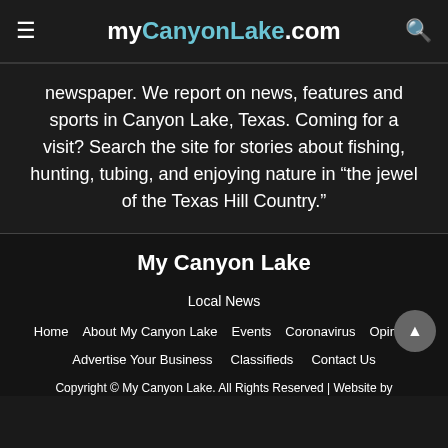myCanyonLake.com
newspaper. We report on news, features and sports in Canyon Lake, Texas. Coming for a visit? Search the site for stories about fishing, hunting, tubing, and enjoying nature in “the jewel of the Texas Hill Country.”
My Canyon Lake
Local News
Home
About My Canyon Lake
Events
Coronavirus
Opinion
Advertise Your Business
Classifieds
Contact Us
Copyright © My Canyon Lake. All Rights Reserved | Website by